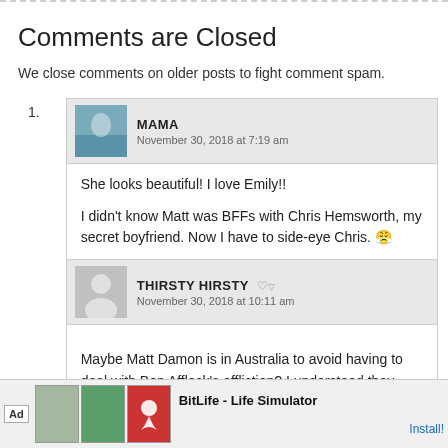Comments are Closed
We close comments on older posts to fight comment spam.
1. MAMA — November 30, 2018 at 7:19 am — She looks beautiful! I love Emily!!

I didn't know Matt was BFFs with Chris Hemsworth, my secret boyfriend. Now I have to side-eye Chris. 😤
THIRSTY HIRSTY — November 30, 2018 at 10:11 am — Maybe Matt Damon is in Australia to avoid having to deal with Ben Affleck's affliction? I understood they grew up
[Figure (infographic): Ad banner: BitLife - Life Simulator with Install button]